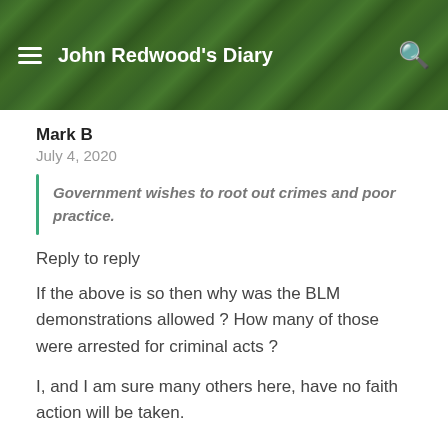John Redwood's Diary
Mark B
July 4, 2020
Government wishes to root out crimes and poor practice.
Reply to reply
If the above is so then why was the BLM demonstrations allowed ? How many of those were arrested for criminal acts ?
I, and I am sure many others here, have no faith action will be taken.